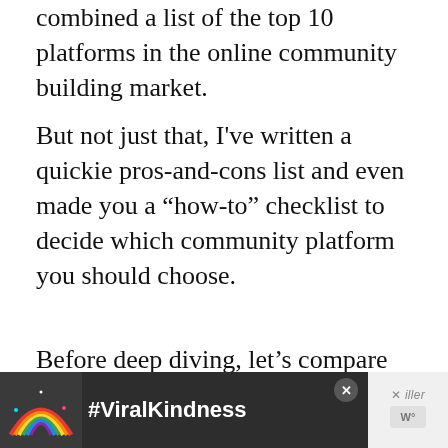combined a list of the top 10 platforms in the online community building market.
But not just that, I've written a quickie pros-and-cons list and even made you a “how-to” checklist to decide which community platform you should choose.
Before deep diving, let’s compare all of them at a glance:
| Software | Best Su… |
| --- | --- |